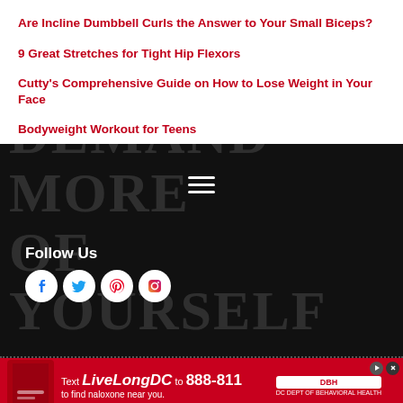Are Incline Dumbbell Curls the Answer to Your Small Biceps?
9 Great Stretches for Tight Hip Flexors
Cutty's Comprehensive Guide on How to Lose Weight in Your Face
Bodyweight Workout for Teens
[Figure (screenshot): Dark fitness website section with hamburger menu icon, 'DEMAND MORE OF YOURSELF' watermark text, Follow Us label with Facebook, Twitter, Pinterest, Instagram social icons, and a dotted divider line]
[Figure (infographic): Red advertisement banner: Text LiveLongDC to 888-811 to find naloxone near you, with DBH logo]